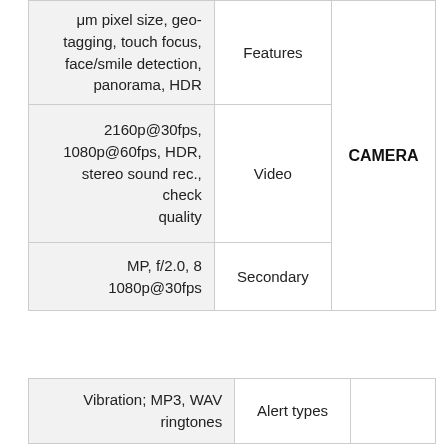| Value | Label | Category |
| --- | --- | --- |
| μm pixel size, geo-tagging, touch focus, face/smile detection, panorama, HDR | Features | CAMERA |
| 2160p@30fps, 1080p@60fps, HDR, stereo sound rec., check quality | Video | CAMERA |
| MP, f/2.0, 8
1080p@30fps | Secondary | CAMERA |
| Value | Label | Category |
| --- | --- | --- |
| Vibration; MP3, WAV ringtones | Alert types |  |